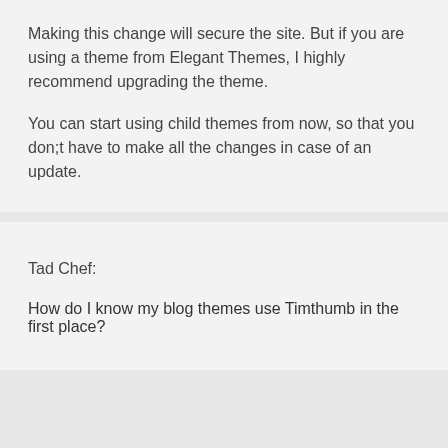Making this change will secure the site. But if you are using a theme from Elegant Themes, I highly recommend upgrading the theme.
You can start using child themes from now, so that you don;t have to make all the changes in case of an update.
Tad Chef:
How do I know my blog themes use Timthumb in the first place?